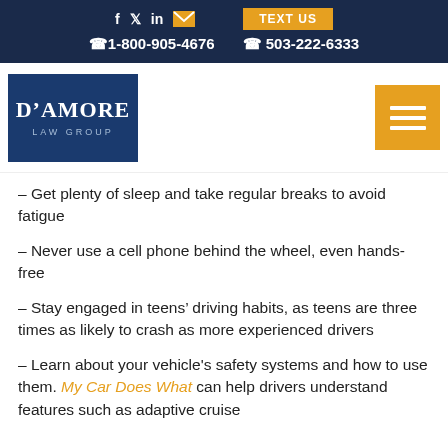f  in  [envelope]  TEXT US
☎1-800-905-4676    ☎ 503-222-6333
[Figure (logo): D'Amore Law Group logo — white text on dark blue background with hamburger menu icon]
– Get plenty of sleep and take regular breaks to avoid fatigue
– Never use a cell phone behind the wheel, even hands-free
– Stay engaged in teens' driving habits, as teens are three times as likely to crash as more experienced drivers
– Learn about your vehicle's safety systems and how to use them. My Car Does What can help drivers understand features such as adaptive cruise